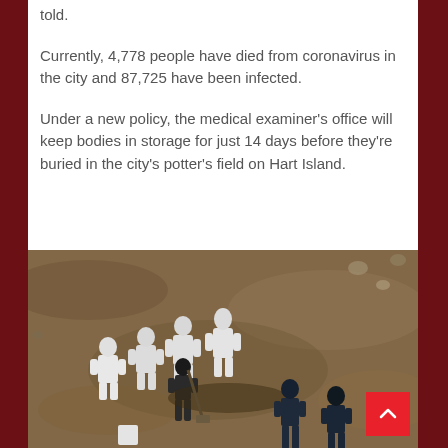told.
Currently, 4,778 people have died from coronavirus in the city and 87,725 have been infected.
Under a new policy, the medical examiner's office will keep bodies in storage for just 14 days before they're buried in the city's potter's field on Hart Island.
[Figure (photo): Aerial view of workers in white hazmat suits and others in dark clothing digging graves at Hart Island, a potter's field for COVID-19 victims. The ground is bare brown dirt.]